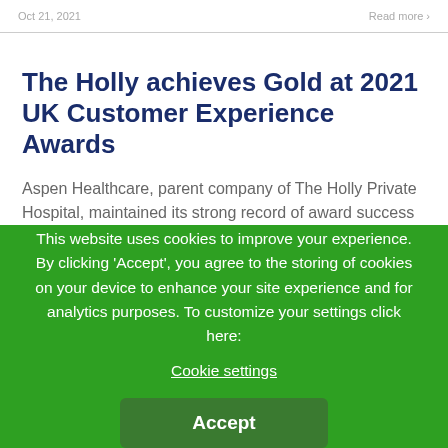...  Read more
The Holly achieves Gold at 2021 UK Customer Experience Awards
Aspen Healthcare, parent company of The Holly Private Hospital, maintained its strong record of award success with a Gold prize at the 2021 UK Customer Experience Awards (UKCXA) on Thursday...
This website uses cookies to improve your experience. By clicking 'Accept', you agree to the storing of cookies on your device to enhance your site experience and for analytics purposes. To customize your settings click here:
Cookie settings
Accept